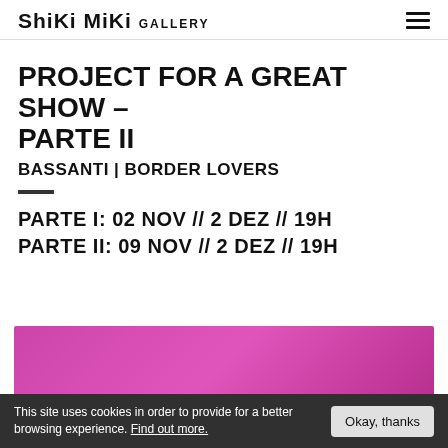ShiKi MiKi GALLERY
PROJECT FOR A GREAT SHOW – PARTE II
BASSANTI | BORDER LOVERS
PARTE I: 02 NOV // 2 DEZ // 19H
PARTE II: 09 NOV // 2 DEZ // 19H
[Figure (photo): Partial view of a pink/magenta artwork or person at the bottom of the page]
This site uses cookies in order to provide for a better browsing experience. Find out more.